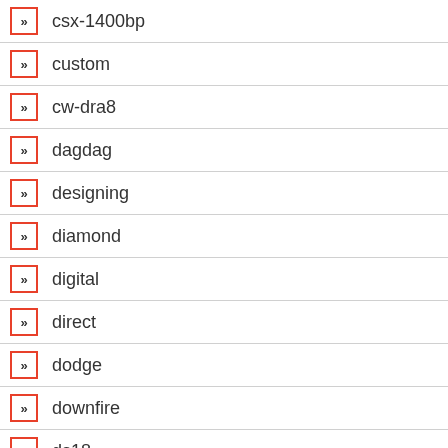csx-1400bp
custom
cw-dra8
dagdag
designing
diamond
digital
direct
dodge
downfire
ds18